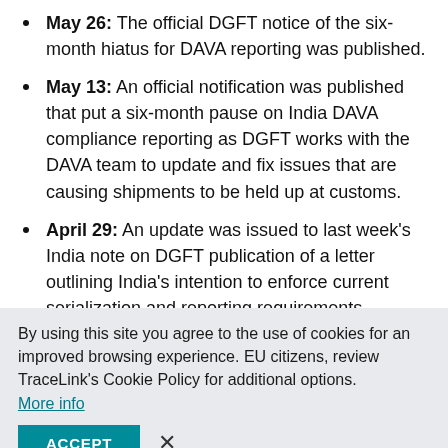May 26: The official DGFT notice of the six-month hiatus for DAVA reporting was published.
May 13: An official notification was published that put a six-month pause on India DAVA compliance reporting as DGFT works with the DAVA team to update and fix issues that are causing shipments to be held up at customs.
April 29: An update was issued to last week's India note on DGFT publication of a letter outlining India's intention to enforce current serialization and reporting requirements.
By using this site you agree to the use of cookies for an improved browsing experience. EU citizens, review TraceLink's Cookie Policy for additional options. More info